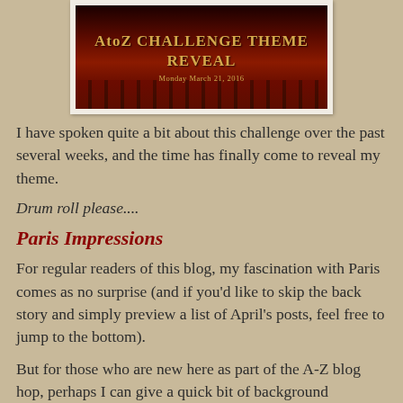[Figure (illustration): AtoZ Challenge Theme Reveal banner image showing a theater with red seats, gold text reading 'AtoZ CHALLENGE THEME REVEAL' and subtitle 'Monday March 21, 2016']
I have spoken quite a bit about this challenge over the past several weeks, and the time has finally come to reveal my theme.
Drum roll please....
Paris Impressions
For regular readers of this blog, my fascination with Paris comes as no surprise (and if you'd like to skip the back story and simply preview a list of April's posts, feel free to jump to the bottom).
But for those who are new here as part of the A-Z blog hop, perhaps I can give a quick bit of background information.
I have adored the idea of living in Paris since second grade when I studied French for the first time. As simple as it may...